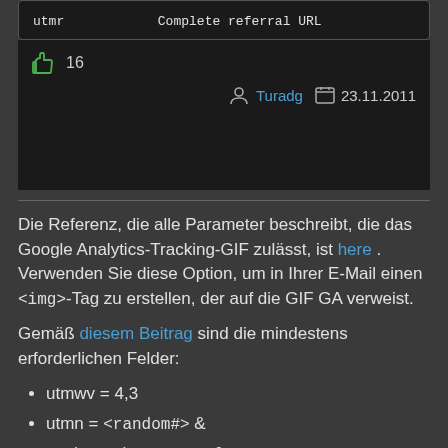| utmr | Complete referral URL |
| --- | --- |
👍 16
Turadg  23.11.2011
Die Referenz, die alle Parameter beschreibt, die das Google Analytics-Tracking-GIF zulässt, ist here . Verwenden Sie diese Option, um in Ihrer E-Mail einen <img>-Tag zu erstellen, der auf die GIF GA verweist.
Gemäß diesem Beitrag sind die mindestens erforderlichen Felder:
utmwv = 4,3
utmn = <random#> &
utmhn = <hostname> &
utmbid = <random#> &